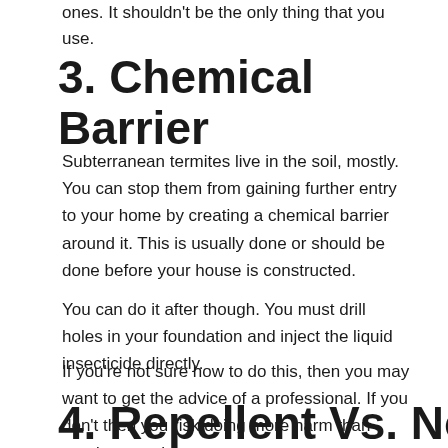ones. It shouldn't be the only thing that you use.
3. Chemical Barrier
Subterranean termites live in the soil, mostly. You can stop them from gaining further entry to your home by creating a chemical barrier around it. This is usually done or should be done before your house is constructed.
You can do it after though. You must drill holes in your foundation and inject the liquid insecticide directly.
If you're not sure how to do this, then you may want to get the advice of a professional. If you don't then you risk doing more harm than good to your home.
4. Repellent Vs. Non-